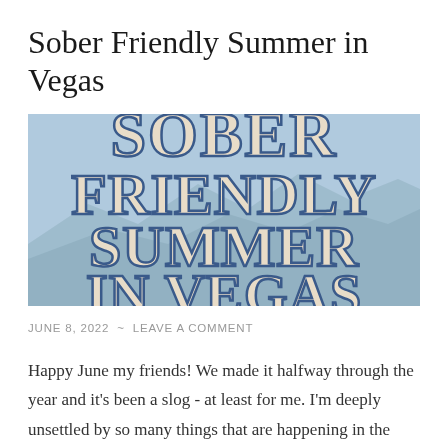Sober Friendly Summer in Vegas
[Figure (illustration): Decorative image with text 'SOBER FRIENDLY SUMMER IN VEGAS' in large outlined serif letters on a light blue background with a faint mountain landscape.]
JUNE 8, 2022 ~ LEAVE A COMMENT
Happy June my friends! We made it halfway through the year and it's been a slog - at least for me. I'm deeply unsettled by so many things that are happening in the world right now. To keep me from